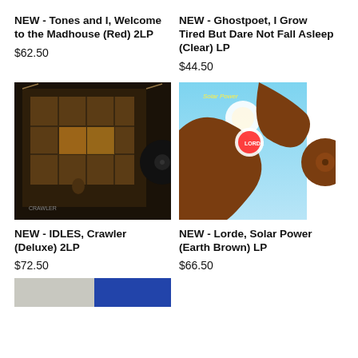NEW - Tones and I, Welcome to the Madhouse (Red) 2LP
$62.50
NEW - Ghostpoet, I Grow Tired But Dare Not Fall Asleep (Clear) LP
$44.50
[Figure (photo): IDLES Crawler album cover showing illuminated building interior with vinyl record partially showing, dark tones]
[Figure (photo): Lorde Solar Power album cover showing figure leaping against blue sky, with brown vinyl record partially showing]
NEW - IDLES, Crawler (Deluxe) 2LP
$72.50
NEW - Lorde, Solar Power (Earth Brown) LP
$66.50
[Figure (photo): Partial view of album artwork at bottom of page, cropped]